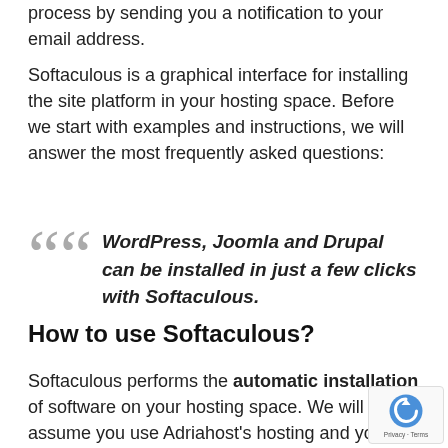process by sending you a notification to your email address.
Softaculous is a graphical interface for installing the site platform in your hosting space. Before we start with examples and instructions, we will answer the most frequently asked questions:
WordPress, Joomla and Drupal can be installed in just a few clicks with Softaculous.
How to use Softaculous?
Softaculous performs the automatic installation of software on your hosting space. We will assume you use Adriahost's hosting and you want to install a new p for a site, blog, forum, or some of the supported C platforms (CMS – Content Management System. example: